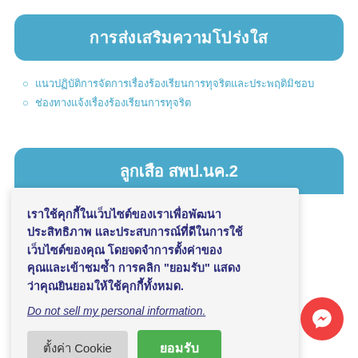การส่งเสริมความโปร่งใส
แนวปฏิบัติการจัดการเรื่องร้องเรียนการทุจริตและประพฤติมิชอบ
ช่องทางแจ้งเรื่องร้องเรียนการทุจริต
ลูกเสือ สพป.นค.2
เราใช้คุกกี้ในเว็บไซต์ของเราเพื่อพัฒนาประสิทธิภาพ และประสบการณ์ที่ดีในการใช้เว็บไซต์ของคุณ โดยจดจำการตั้งค่าของคุณและเข้าชมซ้ำ การคลิก "ยอมรับ" แสดงว่าคุณยินยอมให้ใช้คุกกี้ทั้งหมด.
Do not sell my personal information.
ตั้งค่า Cookie   ยอมรับ